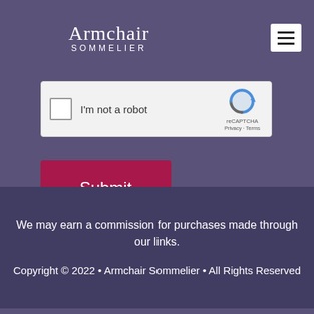Armchair SOMMELIER
[Figure (screenshot): reCAPTCHA widget with checkbox labeled 'I'm not a robot' and reCAPTCHA logo with Privacy and Terms links]
[Figure (screenshot): Submit button in dark red/crimson color]
We may earn a commission for purchases made through our links.
Copyright © 2022 • Armchair Sommelier • All Rights Reserved